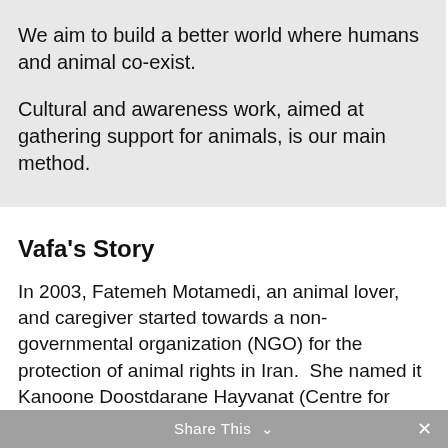We aim to build a better world where humans and animal co-exist.
Cultural and awareness work, aimed at gathering support for animals, is our main method.
Vafa's Story
In 2003, Fatemeh Motamedi, an animal lover, and caregiver started towards a non-governmental organization (NGO) for the protection of animal rights in Iran.  She named it Kanoone Doostdarane Hayvanat (Centre for Animal Lovers).
Share This ∨  ×